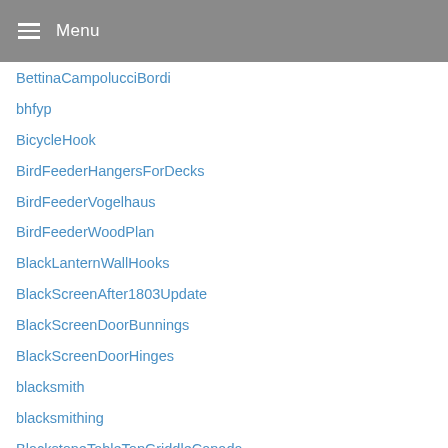Menu
BettinaCampolucciBordi
bhfyp
BicycleHook
BirdFeederHangersForDecks
BirdFeederVogelhaus
BirdFeederWoodPlan
BlackLanternWallHooks
BlackScreenAfter1803Update
BlackScreenDoorBunnings
BlackScreenDoorHinges
blacksmith
blacksmithing
BlackstoneTableTopGriddleCanada
BlackstoneTableTopGriddleParts
BlackstoneTableTopGriddleReview
Blades
BlindShelfSupportsDiy